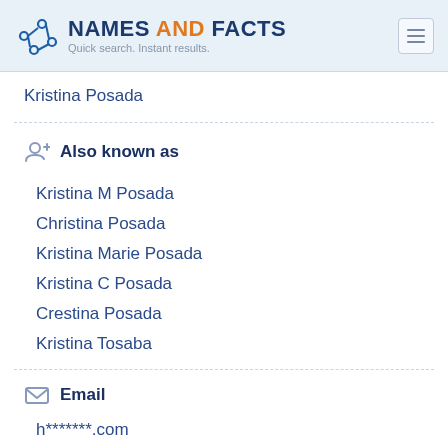NAMES AND FACTS — Quick search. Instant results.
Kristina Posada
Also known as
Kristina M Posada
Christina Posada
Kristina Marie Posada
Kristina C Posada
Crestina Posada
Kristina Tosaba
Email
h*******.com